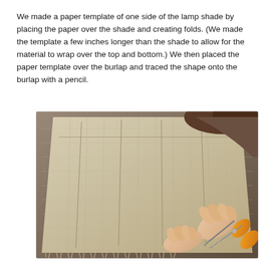We made a paper template of one side of the lamp shade by placing the paper over the shade and creating folds. (We made the template a few inches longer than the shade to allow for the material to wrap over the top and bottom.) We then placed the paper template over the burlap and traced the shape onto the burlap with a pencil.
[Figure (photo): A person cutting burlap fabric with orange-handled scissors. The burlap is draped over a lamp shade frame showing pencil-traced fold lines. The person's hands and part of their head and shoulder are visible, and frayed burlap threads are visible at the bottom edge.]